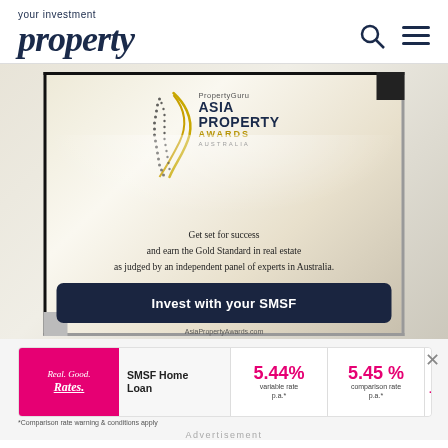your investment property
[Figure (infographic): PropertyGuru Asia Property Awards Australia advertisement. Shows award logo with gold swish design, text: 'Get set for success and earn the Gold Standard in real estate as judged by an independent panel of experts in Australia.' Dark banner overlay: 'Invest with your SMSF'. URL: AsiaPropertyAwards.com]
[Figure (infographic): Loans.com.au SMSF Home Loan advertisement. Pink left section 'Real. Good. Rates.' Middle: 'SMSF Home Loan'. Rate 1: 5.44% variable rate p.a.* Rate 2: 5.45% comparison rate p.a.* Brand: loans .com.au. Disclaimer: *Comparison rate warning & conditions apply]
Advertisement